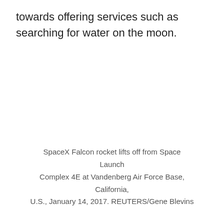towards offering services such as searching for water on the moon.
SpaceX Falcon rocket lifts off from Space Launch Complex 4E at Vandenberg Air Force Base, California, U.S., January 14, 2017. REUTERS/Gene Blevins